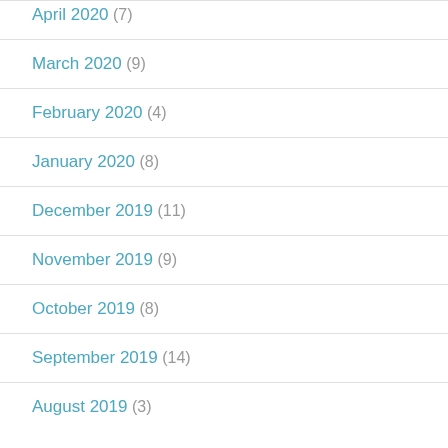April 2020 (7)
March 2020 (9)
February 2020 (4)
January 2020 (8)
December 2019 (11)
November 2019 (9)
October 2019 (8)
September 2019 (14)
August 2019 (3)